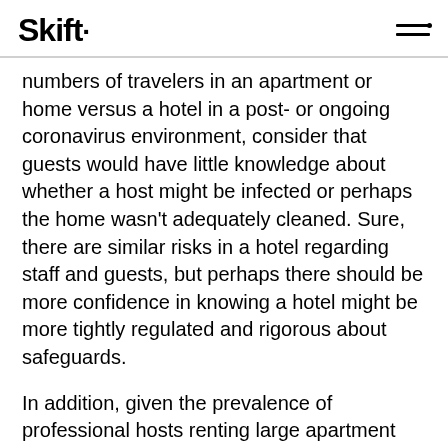Skift
numbers of travelers in an apartment or home versus a hotel in a post- or ongoing coronavirus environment, consider that guests would have little knowledge about whether a host might be infected or perhaps the home wasn't adequately cleaned. Sure, there are similar risks in a hotel regarding staff and guests, but perhaps there should be more confidence in knowing a hotel might be more tightly regulated and rigorous about safeguards.
In addition, given the prevalence of professional hosts renting large apartment buildings through Airbnb, the density argument may fall short in